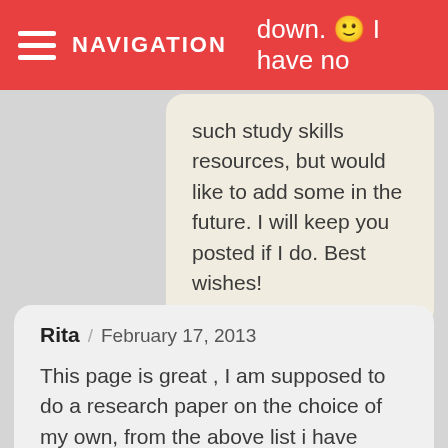NAVIGATION  down. 😊 I have no
down. 😊 I have no such study skills resources, but would like to add some in the future. I will keep you posted if I do. Best wishes!
Rita / February 17, 2013

This page is great , I am supposed to do a research paper on the choice of my own, from the above list i have chosen how airport security intensified after sept 11...